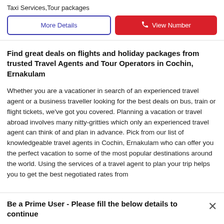Taxi Services,Tour packages
More Details | View Number
Find great deals on flights and holiday packages from trusted Travel Agents and Tour Operators in Cochin, Ernakulam
Whether you are a vacationer in search of an experienced travel agent or a business traveller looking for the best deals on bus, train or flight tickets, we've got you covered. Planning a vacation or travel abroad involves many nitty-gritties which only an experienced travel agent can think of and plan in advance. Pick from our list of knowledgeable travel agents in Cochin, Ernakulam who can offer you the perfect vacation to some of the most popular destinations around the world. Using the services of a travel agent to plan your trip helps you to get the best negotiated rates from
Be a Prime User - Please fill the below details to continue